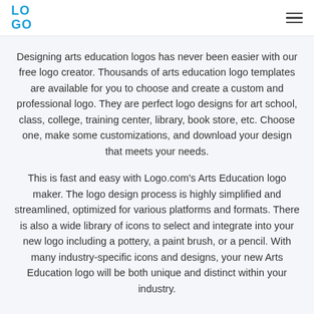LOGO
Designing arts education logos has never been easier with our free logo creator. Thousands of arts education logo templates are available for you to choose and create a custom and professional logo. They are perfect logo designs for art school, class, college, training center, library, book store, etc. Choose one, make some customizations, and download your design that meets your needs.
This is fast and easy with Logo.com's Arts Education logo maker. The logo design process is highly simplified and streamlined, optimized for various platforms and formats. There is also a wide library of icons to select and integrate into your new logo including a pottery, a paint brush, or a pencil. With many industry-specific icons and designs, your new Arts Education logo will be both unique and distinct within your industry.